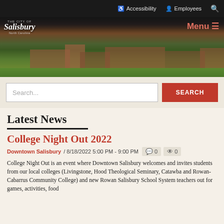Accessibility  Employees  Search
[Figure (photo): City of Salisbury website header with logo and a photo of a park or recreational facility with brick building, green lawn, and bare trees]
Search...
Latest News
College Night Out 2022
Downtown Salisbury / 8/18/2022 5:00 PM - 9:00 PM   0   0
College Night Out is an event where Downtown Salisbury welcomes and invites students from our local colleges (Livingstone, Hood Theological Seminary, Catawba and Rowan-Cabarrus Community College) and new Rowan Salisbury School System teachers out for games, activities, food